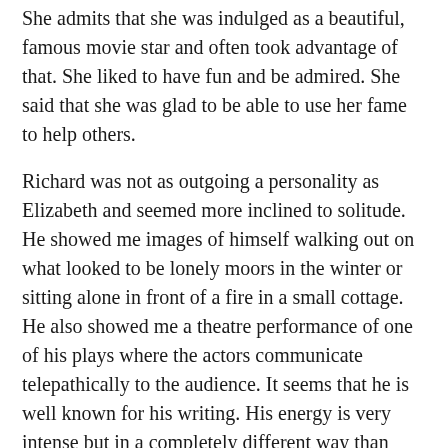She admits that she was indulged as a beautiful, famous movie star and often took advantage of that. She liked to have fun and be admired. She said that she was glad to be able to use her fame to help others.
Richard was not as outgoing a personality as Elizabeth and seemed more inclined to solitude. He showed me images of himself walking out on what looked to be lonely moors in the winter or sitting alone in front of a fire in a small cottage. He also showed me a theatre performance of one of his plays where the actors communicate telepathically to the audience. It seems that he is well known for his writing. His energy is very intense but in a completely different way than Elizabeth's. It's been such a pleasure to meet both of them!
© Bolan-Beaty Boogie